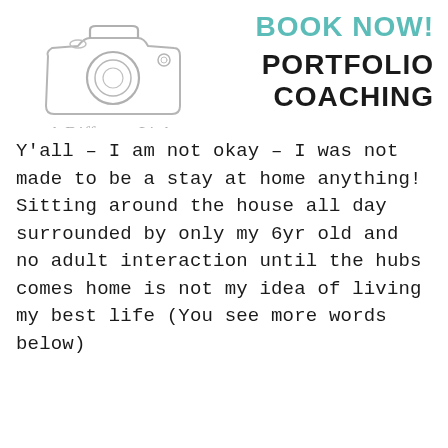[Figure (logo): A Different Light Photography logo with hand-drawn camera sketch and cursive script text]
BOOK NOW!
PORTFOLIO COACHING
Y'all – I am not okay – I was not made to be a stay at home anything! Sitting around the house all day surrounded by only my 6yr old and no adult interaction until the hubs comes home is not my idea of living my best life (You see more words below)